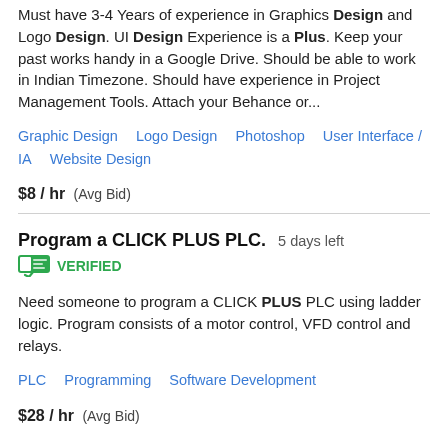Must have 3-4 Years of experience in Graphics Design and Logo Design. UI Design Experience is a Plus. Keep your past works handy in a Google Drive. Should be able to work in Indian Timezone. Should have experience in Project Management Tools. Attach your Behance or...
Graphic Design   Logo Design   Photoshop   User Interface / IA   Website Design
$8 / hr  (Avg Bid)
Program a CLICK PLUS PLC.  5 days left
VERIFIED
Need someone to program a CLICK PLUS PLC using ladder logic. Program consists of a motor control, VFD control and relays.
PLC   Programming   Software Development
$28 / hr  (Avg Bid)